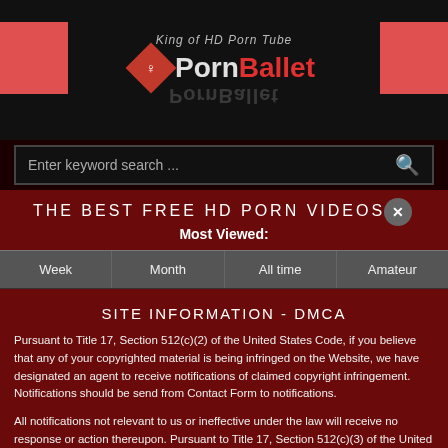[Figure (logo): PornBallet website logo with red diamond shape, white silhouette dancer, tagline 'King of HD Porn Tube', red decorative squares on left and right]
Enter keyword search ...
THE BEST FREE HD PORN VIDEOS
Most Viewed:
| Week | Month | All time | Amateur |
| --- | --- | --- | --- |
SITE INFORMATION - DMCA
Pursuant to Title 17, Section 512(c)(2) of the United States Code, if you believe that any of your copyrighted material is being infringed on the Website, we have designated an agent to receive notifications of claimed copyright infringement. Notifications should be send from Contact Form to notifications.
All notifications not relevant to us or ineffective under the law will receive no response or action thereupon. Pursuant to Title 17, Section 512(c)(3) of the United States Code, an effective notification of claimed infringement must be a